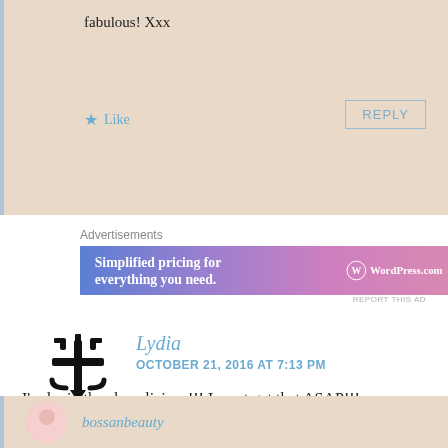fabulous! Xxx
Like
REPLY
Advertisements
[Figure (screenshot): WordPress.com advertisement banner: 'Simplified pricing for everything you need.' with WordPress.com logo on gradient blue-purple-pink background]
REPORT THIS AD
Lydia
OCTOBER 21, 2016 AT 7:13 PM
I'm lovin the chocolicious!!! I must get that ASAP!!!
Liked by 1 person
REPLY
bossanbeauty